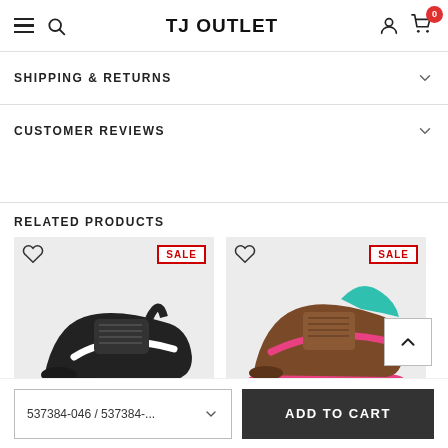TJ OUTLET
SHIPPING & RETURNS
CUSTOMER REVIEWS
RELATED PRODUCTS
[Figure (photo): Black Nike sneaker shoe on light grey background, with SALE badge]
[Figure (photo): Brown/teal Nike high-top sneaker on light grey background, with SALE badge]
537384-046 / 537384-...
ADD TO CART